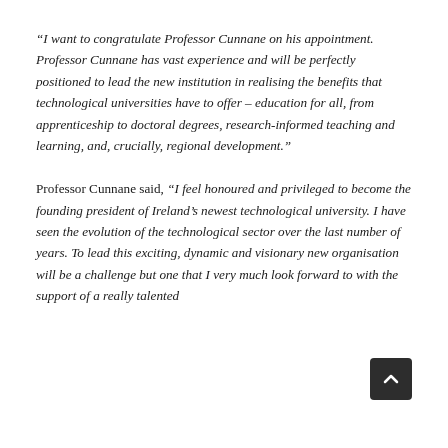“I want to congratulate Professor Cunnane on his appointment. Professor Cunnane has vast experience and will be perfectly positioned to lead the new institution in realising the benefits that technological universities have to offer – education for all, from apprenticeship to doctoral degrees, research-informed teaching and learning, and, crucially, regional development.”
Professor Cunnane said, “I feel honoured and privileged to become the founding president of Ireland’s newest technological university. I have seen the evolution of the technological sector over the last number of years. To lead this exciting, dynamic and visionary new organisation will be a challenge but one that I very much look forward to with the support of a really talented